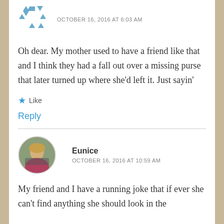[Figure (illustration): Avatar/profile image placeholder with geometric blue triangles and squares pattern]
OCTOBER 16, 2016 AT 6:03 AM
Oh dear. My mother used to have a friend like that and I think they had a fall out over a missing purse that later turned up where she'd left it. Just sayin'
★ Like
Reply
[Figure (photo): Circular avatar photo of Eunice, a woman with blonde hair near bicycles outdoors]
Eunice
OCTOBER 16, 2016 AT 10:59 AM
My friend and I have a running joke that if ever she can't find anything she should look in the